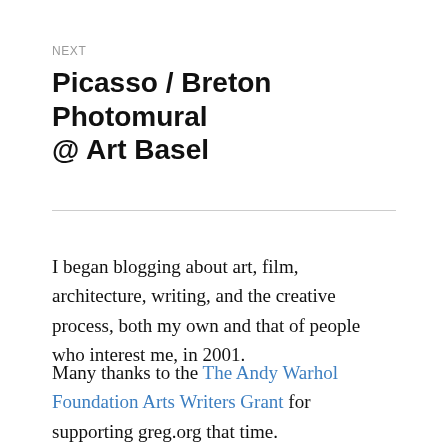NEXT
Picasso / Breton Photomural @ Art Basel
I began blogging about art, film, architecture, writing, and the creative process, both my own and that of people who interest me, in 2001.
Many thanks to the The Andy Warhol Foundation Arts Writers Grant for supporting greg.org that time.